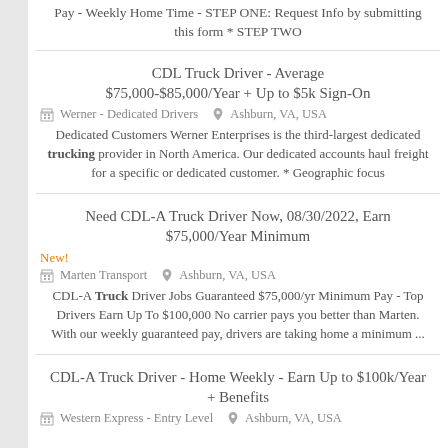Pay - Weekly Home Time - STEP ONE: Request Info by submitting this form * STEP TWO
CDL Truck Driver - Average $75,000-$85,000/Year + Up to $5k Sign-On
Werner - Dedicated Drivers   Ashburn, VA, USA
Dedicated Customers Werner Enterprises is the third-largest dedicated trucking provider in North America. Our dedicated accounts haul freight for a specific or dedicated customer. * Geographic focus
Need CDL-A Truck Driver Now, 08/30/2022, Earn $75,000/Year Minimum
New!
Marten Transport   Ashburn, VA, USA
CDL-A Truck Driver Jobs Guaranteed $75,000/yr Minimum Pay - Top Drivers Earn Up To $100,000 No carrier pays you better than Marten. With our weekly guaranteed pay, drivers are taking home a minimum ...
CDL-A Truck Driver - Home Weekly - Earn Up to $100k/Year + Benefits
Western Express - Entry Level   Ashburn, VA, USA